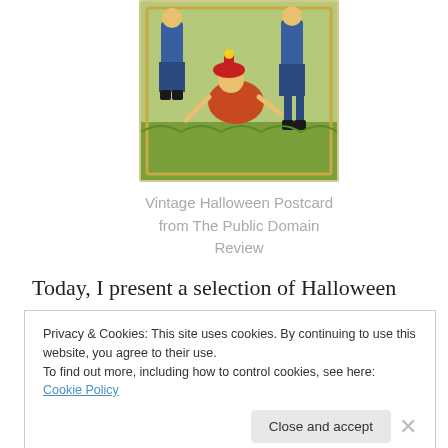[Figure (illustration): Vintage Halloween postcard illustration showing costumed figures on a green grassy background]
Vintage Halloween Postcard from The Public Domain Review
Today, I present a selection of Halloween treats–some lighthearted old-time radio episodes that capture an interesting period in the history of Halloween.
Privacy & Cookies: This site uses cookies. By continuing to use this website, you agree to their use.
To find out more, including how to control cookies, see here: Cookie Policy